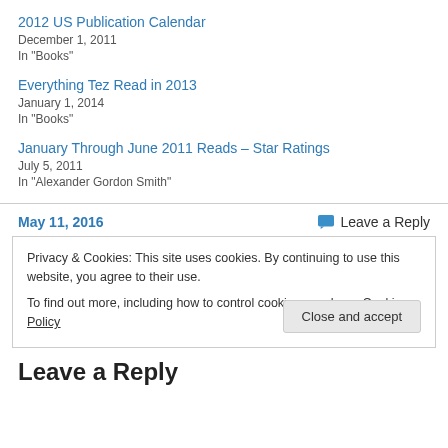2012 US Publication Calendar
December 1, 2011
In "Books"
Everything Tez Read in 2013
January 1, 2014
In "Books"
January Through June 2011 Reads – Star Ratings
July 5, 2011
In "Alexander Gordon Smith"
May 11, 2016
Leave a Reply
Privacy & Cookies: This site uses cookies. By continuing to use this website, you agree to their use.
To find out more, including how to control cookies, see here: Cookie Policy
Close and accept
Leave a Reply